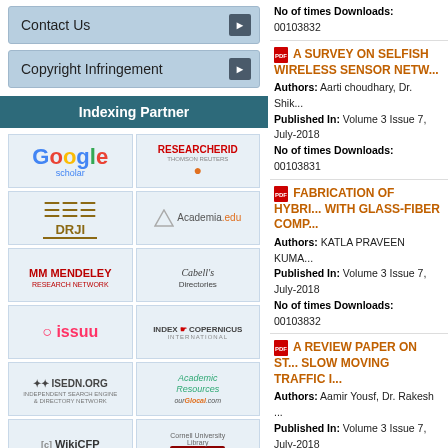Contact Us
Copyright Infringement
Indexing Partner
[Figure (logo): Indexing partner logos: Google Scholar, ResearcherID Thomson Reuters, DRJI, Academia.edu, Mendeley, Cabell's Directories, ISSUU, Index Copernicus International, ISEDN.ORG, Academic Resources ourGlocal.com, WikiCFP, arXiv.org Cornell University Library, ResearchGate, getCITED]
No of times Downloads: 00103832
A SURVEY ON SELFISH WIRELESS SENSOR NETW...
Authors: Aarti choudhary, Dr. Shik... Published In: Volume 3 Issue 7, July-2018 No of times Downloads: 00103831
FABRICATION OF HYBRI... WITH GLASS-FIBER COMP...
Authors: KATLA PRAVEEN KUMA... Published In: Volume 3 Issue 7, July-2018 No of times Downloads: 00103832
A REVIEW PAPER ON ST... SLOW MOVING TRAFFIC I...
Authors: Aamir Yousf, Dr. Rakesh ... Published In: Volume 3 Issue 7, July-2018 No of times Downloads: 00103831
A REVIEW PAPER ON DE... POINTS AND MEASURES T... ON NATIONAL HIGHWAYS...
Authors: Yasir Ahmad Dar, Dr. Rak...